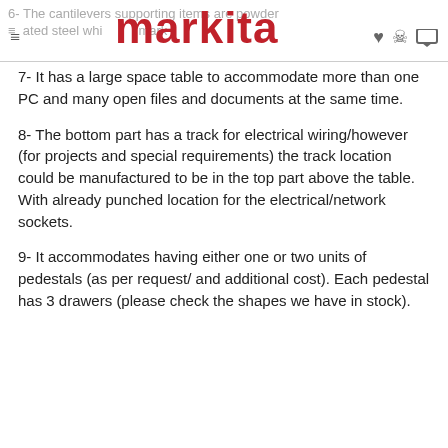6- The cantilevers supporting items are powder coated steel whi... markita
7- It has a large space table to accommodate more than one PC and many open files and documents at the same time.
8- The bottom part has a track for electrical wiring/however (for projects and special requirements) the track location could be manufactured to be in the top part above the table. With already punched location for the electrical/network sockets.
9- It accommodates having either one or two units of pedestals (as per request/ and additional cost). Each pedestal has 3 drawers (please check the shapes we have in stock).